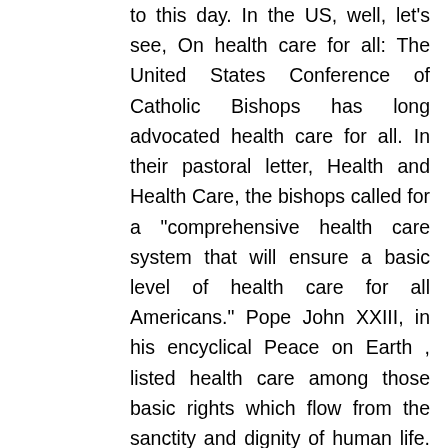to this day. In the US, well, let's see, On health care for all: The United States Conference of Catholic Bishops has long advocated health care for all. In their pastoral letter, Health and Health Care, the bishops called for a "comprehensive health care system that will ensure a basic level of health care for all Americans." Pope John XXIII, in his encyclical Peace on Earth , listed health care among those basic rights which flow from the sanctity and dignity of human life. In the same tradition, Pope John Paul II addressed the need for health care in On Human Work, where he focused on the availability and affordability of health care for workers. In Health and Health Care, the bishops explain that, for the Catholic community, health and the healing ministry take on particular significance because of the Church's involvement as provider of health care services through its various ministries and as a major